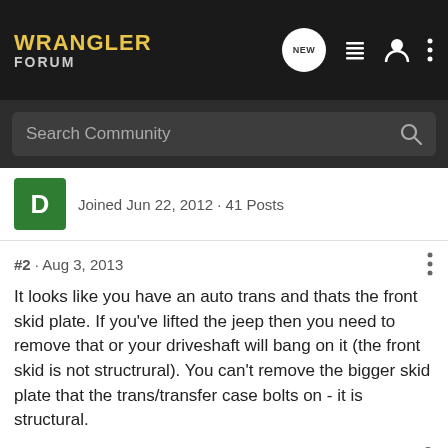WRANGLER FORUM
Search Community
Joined Jun 22, 2012 · 41 Posts
#2 · Aug 3, 2013
It looks like you have an auto trans and thats the front skid plate. If you've lifted the jeep then you need to remove that or your driveshaft will bang on it (the front skid is not structrural). You can't remove the bigger skid plate that the trans/transfer case bolts on - it is structural.
OhSixTJ · Registered 🇺🇸 Joined Mar 14, 2013 · 1,111 Posts